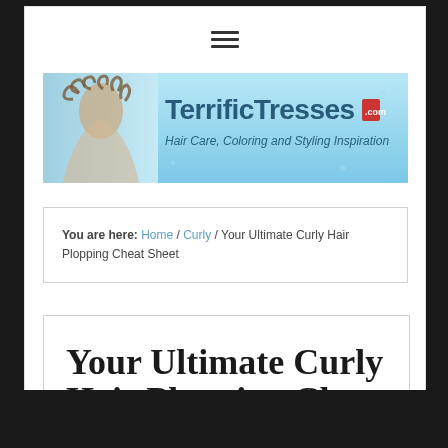[Figure (logo): TerrificTresses.com banner with woman with curly hair and text 'Hair Care, Coloring and Styling Inspiration' on blue background]
You are here: Home / Curly / Your Ultimate Curly Hair Plopping Cheat Sheet
Your Ultimate Curly Hair Plopping Cheat